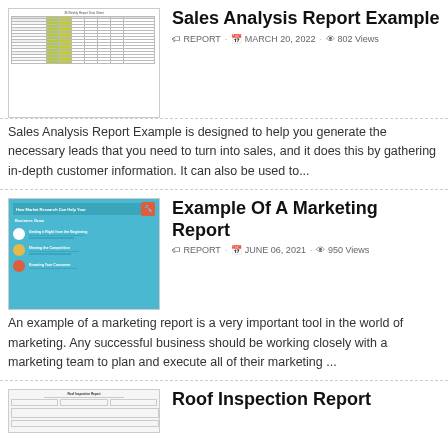[Figure (screenshot): Thumbnail of Sales Analysis Report spreadsheet with green highlighted columns]
Sales Analysis Report Example
REPORT · MARCH 20, 2022 · 802 Views
Sales Analysis Report Example is designed to help you generate the necessary leads that you need to turn into sales, and it does this by gathering in-depth customer information. It can also be used to...
[Figure (screenshot): Thumbnail of How Market Research Can Help Your Business Grow infographic with blue background]
Example Of A Marketing Report
REPORT · JUNE 06, 2021 · 950 Views
An example of a marketing report is a very important tool in the world of marketing. Any successful business should be working closely with a marketing team to plan and execute all of their marketing ...
[Figure (screenshot): Thumbnail of Roof Inspection Report document]
Roof Inspection Report